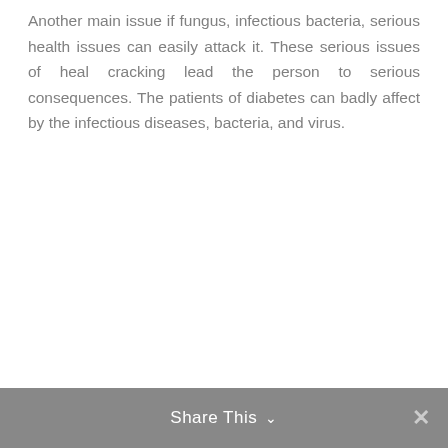Another main issue if fungus, infectious bacteria, serious health issues can easily attack it. These serious issues of heal cracking lead the person to serious consequences. The patients of diabetes can badly affect by the infectious diseases, bacteria, and virus.
Share This ∨  ✕